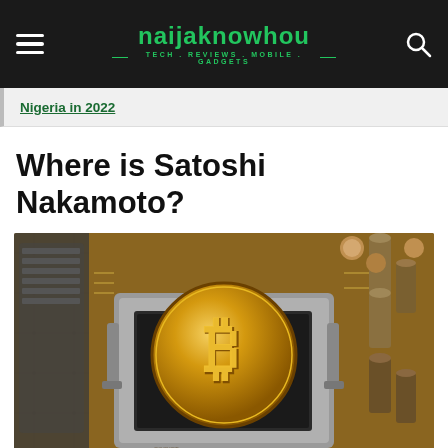naijaknowhou — TECH . REVIEWS . MOBILE . GADGETS
Nigeria in 2022
Where is Satoshi Nakamoto?
[Figure (photo): A gold Bitcoin coin placed on top of a CPU processor socket on a circuit board with various electronic components in the background]